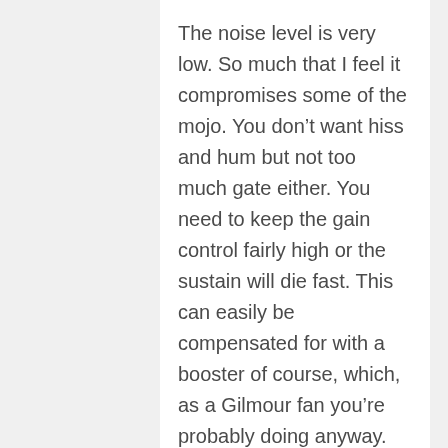The noise level is very low. So much that I feel it compromises some of the mojo. You don’t want hiss and hum but not too much gate either. You need to keep the gain control fairly high or the sustain will die fast. This can easily be compensated for with a booster of course, which, as a Gilmour fan you’re probably doing anyway.
But, these are minor issues. I’m very impressed with